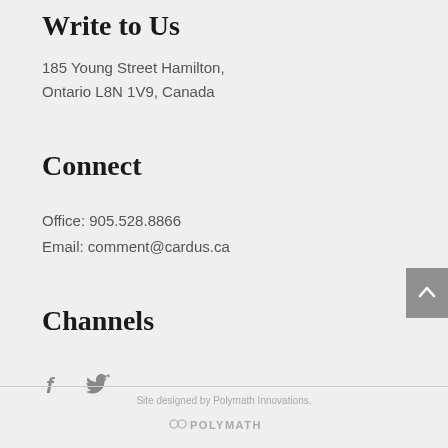Write to Us
185 Young Street Hamilton,
Ontario L8N 1V9, Canada
Connect
Office: 905.528.8866
Email: comment@cardus.ca
Channels
[Figure (other): Facebook and Twitter social media icons]
[Figure (other): Scroll-to-top button with upward arrow]
Site designed by Polymath Innovations.
[Figure (logo): Polymath logo with stylized circular icon and POLYMATH wordmark]